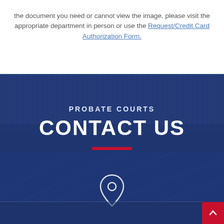the document you need or cannot view the image, please visit the appropriate department in person or use the Request/Credit Card Authorization Form.
PROBATE COURTS
CONTACT US
[Figure (illustration): Location pin / map marker icon in white outline style, displayed over dark navy blue hero background with red decorative bar above it.]